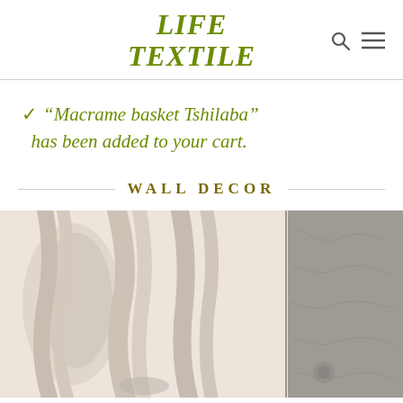LIFE TEXTILE
“Macrame basket Tshilaba” has been added to your cart.
WALL DECOR
[Figure (photo): Close-up photo of macrame/textile wall decor items in cream/beige and grey tones]